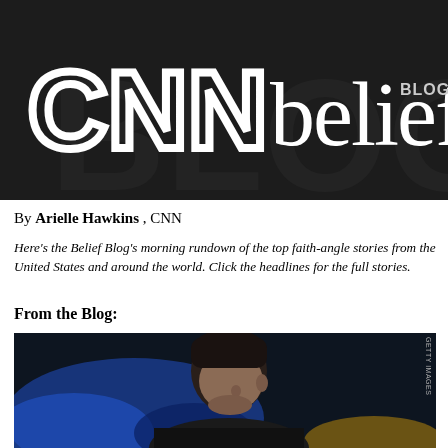[Figure (logo): CNN Belief Blog logo — white CNN letters and 'belief BLOG' text on dark gray/black background]
By Arielle Hawkins , CNN
Here's the Belief Blog's morning rundown of the top faith-angle stories from the United States and around the world. Click the headlines for the full stories.
From the Blog:
[Figure (photo): A man with dark hair looking downward, with blue stage lighting in the background. Small vertical photo credit text in upper right corner reading 'GETTY IMAGES'.]